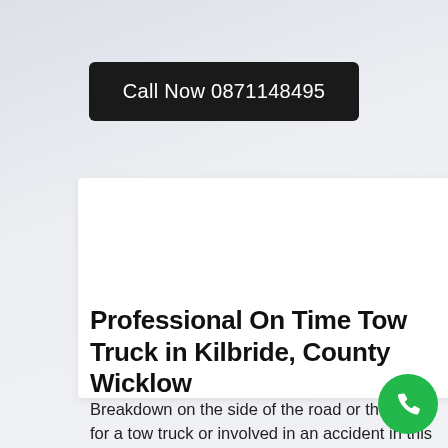Call Now 0871148495
[Figure (other): White card/advertisement panel placeholder area]
Professional On Time Tow Truck in Kilbride, County Wicklow
Breakdown on the side of the road or the need for a tow truck or involved in an accident in this area can be a stressful
[Figure (other): Green circular phone/call floating action button]